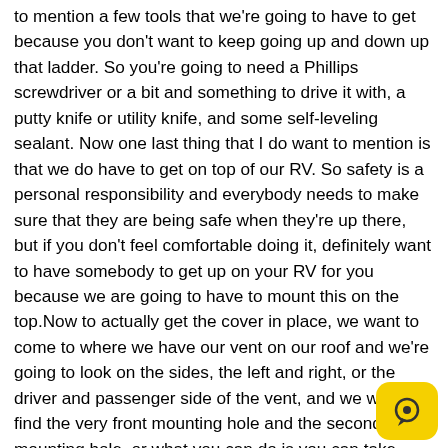to mention a few tools that we're going to have to get because you don't want to keep going up and down up that ladder. So you're going to need a Phillips screwdriver or a bit and something to drive it with, a putty knife or utility knife, and some self-leveling sealant. Now one last thing that I do want to mention is that we do have to get on top of our RV. So safety is a personal responsibility and everybody needs to make sure that they are being safe when they're up there, but if you don't feel comfortable doing it, definitely want to have somebody to get up on your RV for you because we are going to have to mount this on the top.Now to actually get the cover in place, we want to come to where we have our vent on our roof and we're going to look on the sides, the left and right, or the driver and passenger side of the vent, and we want to find the very front mounting hole and the second to last mounting hole, or what you can do is you can take your vent and we'll just loosely put it on top. And we can kind of see where the screws line up from the existing vent to where they're going to line up with our new cover. And those are the ones that we want to peel the sealant up off of, so we get access to those screws.So you're going to take a putty knife and we're going to peel away the sealant that's right around the screw itself. Now we only need to peel away the sealant that's on those screws that line up with our vent. We don't need to take them all off, you get the sealant off, you kind of want to take off a g
[Figure (illustration): Yellow rounded square chat bubble icon in the bottom right corner]